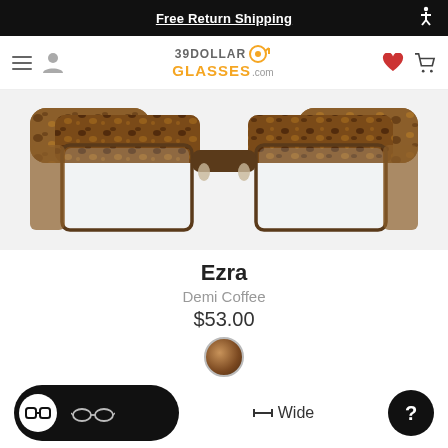Free Return Shipping
[Figure (logo): 39DollarGlasses.com logo with navigation icons]
[Figure (photo): Close-up of Ezra Demi Coffee eyeglasses frames — tortoiseshell brown pattern on top, metal bottom rims]
Ezra
Demi Coffee
$53.00
[Figure (other): Brown color swatch circle for Demi Coffee color option]
Wide
[Figure (other): Frame style toggle button with two eyeglass style icons, and a help/question button]